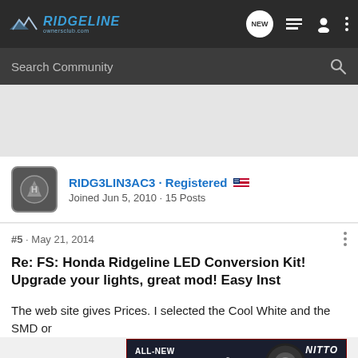RIDGELINE ownersclub.com — navigation bar with NEW, list, user, and more icons
Search Community
[Figure (other): Gray spacer/advertisement area]
RIDG3LIN3AC3 · Registered 🇺🇸
Joined Jun 5, 2010 · 15 Posts
#5 · May 21, 2014
Re: FS: Honda Ridgeline LED Conversion Kit! Upgrade your lights, great mod! Easy Inst
The web site gives Prices. I selected the Cool White and the SMD or
[Figure (photo): Advertisement: ALL-NEW NOMAD GRAPPLER CROSSOVER-TERRAIN TIRE with NITTO logo and tire image]